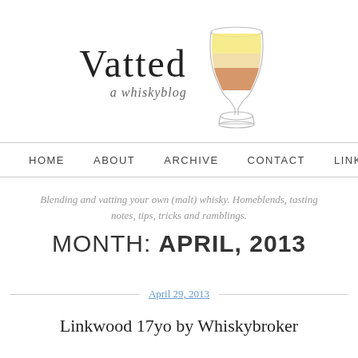[Figure (logo): Vatted whisky blog logo: text 'Vatted / a whiskyblog' beside an illustration of a Glencairn whisky glass with amber/golden liquid layers]
HOME   ABOUT   ARCHIVE   CONTACT   LINKS   SCORING
Blending and vatting your own (malt) whisky. Homeblends, tasting notes, tips, tricks and ramblings.
MONTH: APRIL, 2013
April 29, 2013
Linkwood 17yo by Whiskybroker